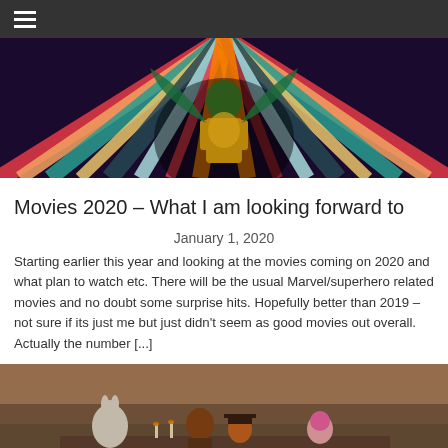Navigation menu
[Figure (photo): Wonder Woman 1984 movie poster with colorful rainbow streaks and character in golden armor]
Movies 2020 – What I am looking forward to
January 1, 2020
Starting earlier this year and looking at the movies coming on 2020 and what plan to watch etc. There will be the usual Marvel/superhero related movies and no doubt some surprise hits. Hopefully better than 2019 – not sure if its just me but just didn't seem as good movies out overall. Actually the number [...]
[Figure (photo): Fantasy/costume scene with characters including a white rabbit and people in elaborate costumes seated outdoors]